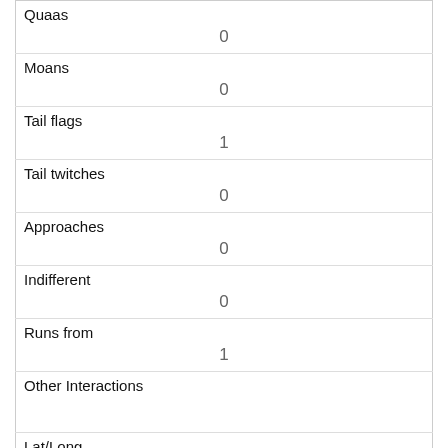| Field | Value |
| --- | --- |
| Quaas | 0 |
| Moans | 0 |
| Tail flags | 1 |
| Tail twitches | 0 |
| Approaches | 0 |
| Indifferent | 0 |
| Runs from | 1 |
| Other Interactions |  |
| Lat/Long | POINT (-73.9787180870736 40.7715877863274) |
| Field | Value |
| --- | --- |
| Link | 91 |